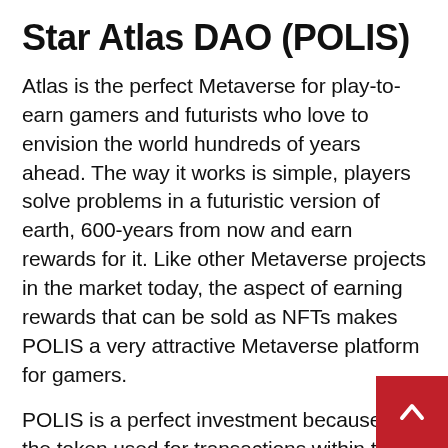Star Atlas DAO (POLIS)
Atlas is the perfect Metaverse for play-to-earn gamers and futurists who love to envision the world hundreds of years ahead. The way it works is simple, players solve problems in a futuristic version of earth, 600-years from now and earn rewards for it. Like other Metaverse projects in the market today, the aspect of earning rewards that can be sold as NFTs makes POLIS a very attractive Metaverse platform for gamers.
POLIS is a perfect investment because it is the token used for transactions within the Star Atlas DAO from an investor perspective. T means as more gamers enter the Star Atla DAO ecosystem, the value of POLIS will go up